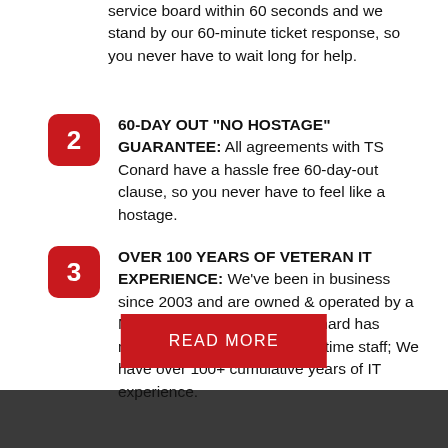service board within 60 seconds and we stand by our 60-minute ticket response, so you never have to wait long for help.
60-DAY OUT “NO HOSTAGE” GUARANTEE: All agreements with TS Conard have a hassle free 60-day-out clause, so you never have to feel like a hostage.
OVER 100 YEARS OF VETERAN IT EXPERIENCE: We’ve been in business since 2003 and are owned & operated by a Marine Corps veteran. TS Conard has meticulously groomed our full-time staff; We have over 100+ cumulative years of IT experience.
READ MORE